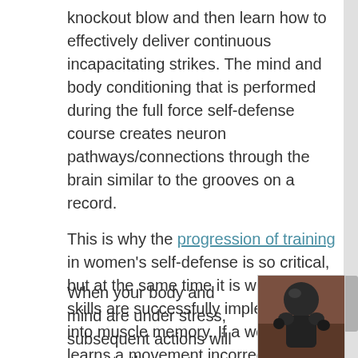knockout blow and then learn how to effectively deliver continuous incapacitating strikes. The mind and body conditioning that is performed during the full force self-defense course creates neuron pathways/connections through the brain similar to the grooves on a record. This is why the progression of training in women's self-defense is so critical, but at the same time it is why the skills are successfully implemented into muscle memory. If a woman learns a movement incorrectly, it is like putting a scratch on the record. Consequently the desired movement will require a larger pathway/connection of neurons in the brain to override the incorrect pathway.
When your body and mind are under stress, subsequent actions will revert to the most...
[Figure (photo): A photo showing a person in dark protective/martial arts gear, appearing to be in a self-defense or boxing context, against a reddish-brown background.]